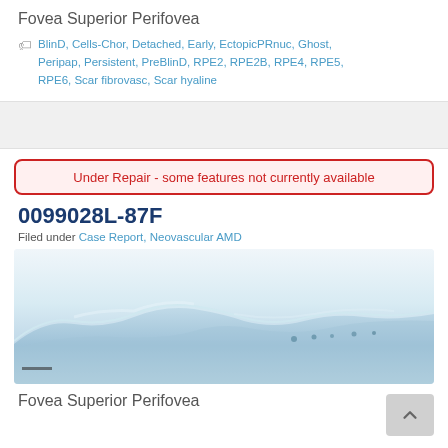Fovea Superior Perifovea
BlinD, Cells-Chor, Detached, Early, EctopicPRnuc, Ghost, Peripap, Persistent, PreBlinD, RPE2, RPE2B, RPE4, RPE5, RPE6, Scar fibrovasc, Scar hyaline
Under Repair - some features not currently available
0099028L-87F
Filed under Case Report, Neovascular AMD
[Figure (photo): Histological cross-section image of retinal tissue showing a curved tissue slice stained in blue/light tones, with visible cellular structures on a white background]
Fovea Superior Perifovea